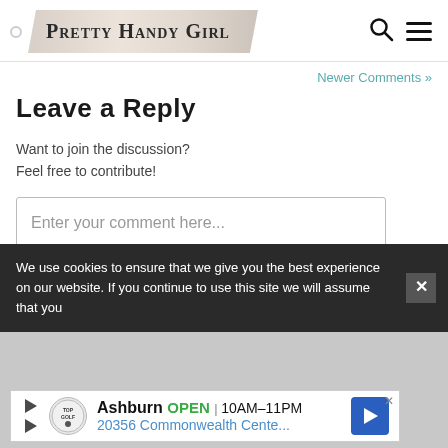PRETTY HANDY GIRL
Newer Comments »
Leave a Reply
Want to join the discussion?
Feel free to contribute!
Enter your comment here...
We use cookies to ensure that we give you the best experience on our website. If you continue to use this site we will assume that you
[Figure (screenshot): Topgolf advertisement: Ashburn OPEN 10AM-11PM, 20356 Commonwealth Cente...]